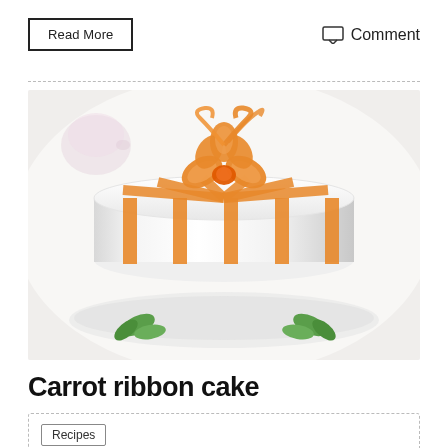Read More
Comment
[Figure (photo): A round white cake decorated with orange carrot ribbon stripes running vertically and tied with an orange bow on top, garnished with green mint leaves on a plate, with a pink teacup blurred in the background.]
Carrot ribbon cake
Recipes